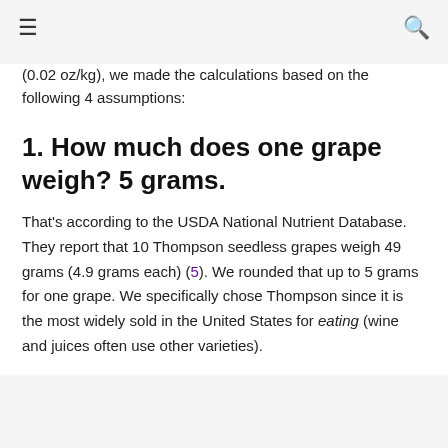≡  [hamburger menu]  [search icon]
(0.02 oz/kg), we made the calculations based on the following 4 assumptions:
1. How much does one grape weigh? 5 grams.
That's according to the USDA National Nutrient Database. They report that 10 Thompson seedless grapes weigh 49 grams (4.9 grams each) (5). We rounded that up to 5 grams for one grape. We specifically chose Thompson since it is the most widely sold in the United States for eating (wine and juices often use other varieties).